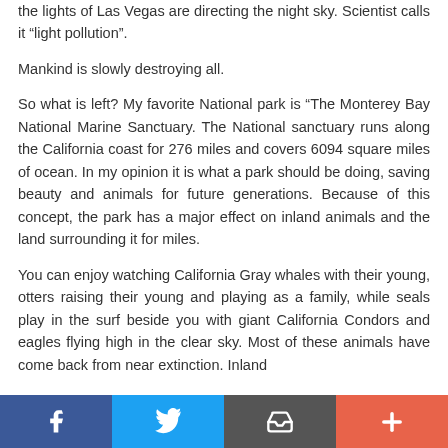the lights of Las Vegas are directing the night sky. Scientist calls it “light pollution”.
Mankind is slowly destroying all.
So what is left? My favorite National park is “The Monterey Bay National Marine Sanctuary. The National sanctuary runs along the California coast for 276 miles and covers 6094 square miles of ocean. In my opinion it is what a park should be doing, saving beauty and animals for future generations. Because of this concept, the park has a major effect on inland animals and the land surrounding it for miles.
You can enjoy watching California Gray whales with their young, otters raising their young and playing as a family, while seals play in the surf beside you with giant California Condors and eagles flying high in the clear sky. Most of these animals have come back from near extinction. Inland
Facebook | Twitter | Email | More